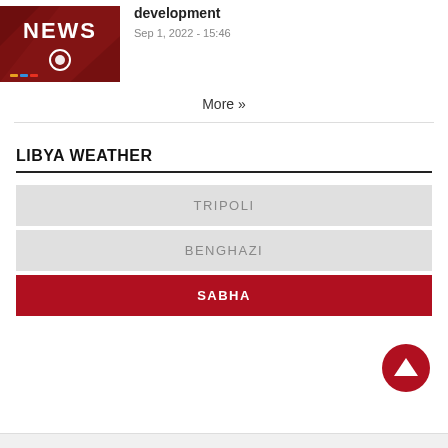[Figure (photo): News thumbnail with dark red background and 'NEWS' text in white bold letters with a circular target/record icon below]
development
Sep 1, 2022 - 15:46
More »
LIBYA WEATHER
TRIPOLI
BENGHAZI
SABHA
[Figure (illustration): Red circular scroll-to-top button with white upward triangle arrow]